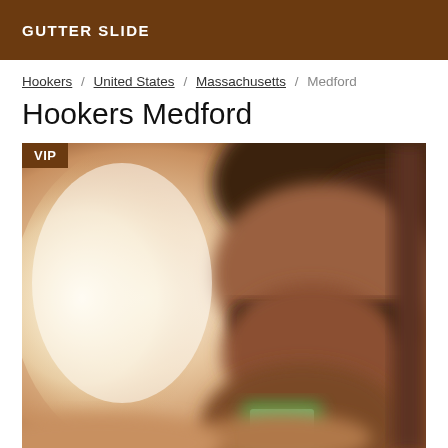GUTTER SLIDE
Hookers / United States / Massachusetts / Medford
Hookers Medford
[Figure (photo): A blurred selfie photo of a person wearing glasses, with a green phone visible at the bottom, VIP badge in the top-left corner.]